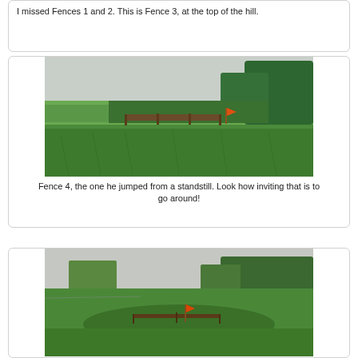[Figure (photo): Outdoor equestrian cross-country fence (Fence 3) at the top of a hill, green grass and trees visible]
I missed Fences 1 and 2.  This is Fence 3, at the top of the hill.
[Figure (photo): Wide green field with a wooden cross-country fence (Fence 4) in the middle distance, surrounded by tall grass and trees]
Fence 4, the one he jumped from a standstill.  Look how inviting that is to go around!
[Figure (photo): Green rolling hills with a low wooden cross-country fence in the foreground, trees and an orange flag marker visible]